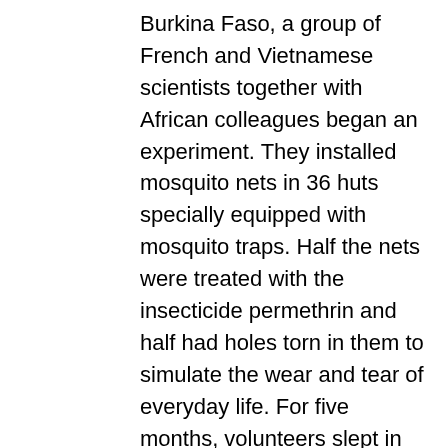Burkina Faso, a group of French and Vietnamese scientists together with African colleagues began an experiment. They installed mosquito nets in 36 huts specially equipped with mosquito traps. Half the nets were treated with the insecticide permethrin and half had holes torn in them to simulate the wear and tear of everyday life. For five months, volunteers slept in the huts, while every mosquito that entered or tried to leave the huts was collected, dead or alive. The results showed that the presence of a permethrin-treated net, whether intact or torn, repelled mosquitoes, reducing the number entering the huts by about 70% and increasing the rate at which the insects left the hut from 25% to 97%.
This simple, careful experiment proved to be a breakthrough in the control of malaria in Africa. Supported by the Gates Foundation, impregnated